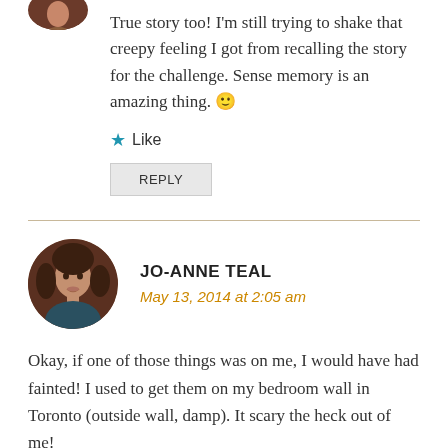True story too! I'm still trying to shake that creepy feeling I got from recalling the story for the challenge. Sense memory is an amazing thing. 🙂
★ Like
REPLY
JO-ANNE TEAL
May 13, 2014 at 2:05 am
Okay, if one of those things was on me, I would have had fainted! I used to get them on my bedroom wall in Toronto (outside wall, damp). It scary the heck out of me!
Anyway, enough about that. I really wanted to comment